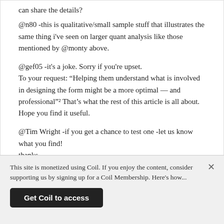can share the details?
@n80 -this is qualitative/small sample stuff that illustrates the same thing i've seen on larger quant analysis like those mentioned by @monty above.
@gef05 -it's a joke. Sorry if you're upset.
To your request: “Helping them understand what is involved in designing the form might be a more optimal — and professional”¹ That’s what the rest of this article is all about. Hope you find it useful.
@Tim Wright -if you get a chance to test one -let us know what you find!
thanks.
This site is monetized using Coil. If you enjoy the content, consider supporting us by signing up for a Coil Membership. Here's how...
Get Coil to access